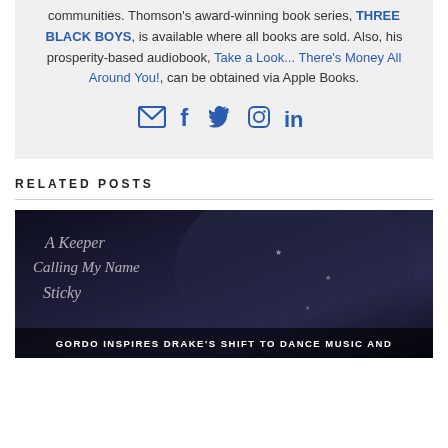communities. Thomson's award-winning book series, THREE BLACK BOYS, is available where all books are sold. Also, his prosperity-based audiobook, Take a Look... There's Money All Around You!, can be obtained via Apple Books.
[Figure (other): Social media icons: email/envelope, Facebook, Twitter, Instagram, LinkedIn]
RELATED POSTS
[Figure (photo): Dark music-themed image with script text overlay reading 'A Keeper Calling My Name Sticky' and bottom caption 'GORDO INSPIRES DRAKE'S SHIFT TO DANCE MUSIC AND']